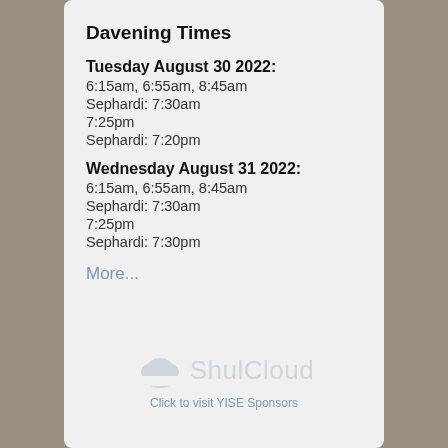Davening Times
Tuesday August 30 2022:
6:15am, 6:55am, 8:45am
Sephardi: 7:30am
7:25pm
Sephardi: 7:20pm
Wednesday August 31 2022:
6:15am, 6:55am, 8:45am
Sephardi: 7:30am
7:25pm
Sephardi: 7:30pm
More...
[Figure (logo): ShulCloud logo with cloud icon]
Click to visit YISE Sponsors